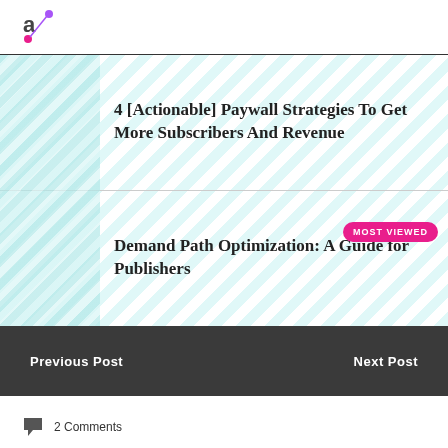4 [Actionable] Paywall Strategies To Get More Subscribers And Revenue
Demand Path Optimization: A Guide for Publishers
Previous Post   Next Post
2 Comments